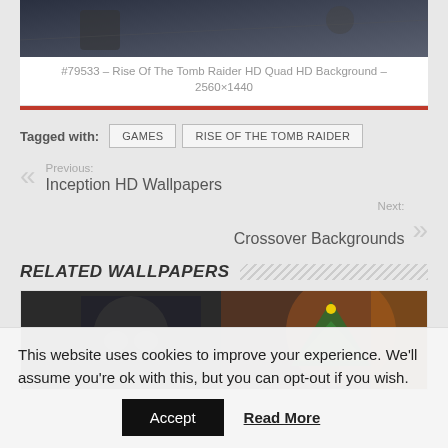[Figure (screenshot): Dark scene from Rise of the Tomb Raider game screenshot]
#79533 – Rise Of The Tomb Raider HD Quad HD Background – 2560×1440
Tagged with:
GAMES
RISE OF THE TOMB RAIDER
Previous: Inception HD Wallpapers
Next: Crossover Backgrounds
RELATED WALLPAPERS
[Figure (photo): Person wearing gas mask next to a Christmas tree in urban setting]
This website uses cookies to improve your experience. We'll assume you're ok with this, but you can opt-out if you wish.
Accept
Read More